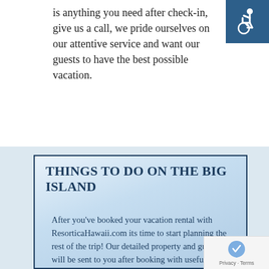is anything you need after check-in, give us a call, we pride ourselves on our attentive service and want our guests to have the best possible vacation.
[Figure (illustration): Wheelchair accessibility icon — white figure in wheelchair on dark blue/teal square background]
THINGS TO DO ON THE BIG ISLAND
After you've booked your vacation rental with ResorticaHawaii.com its time to start planning the rest of the trip! Our detailed property and guidebook will be sent to you after booking with useful island information